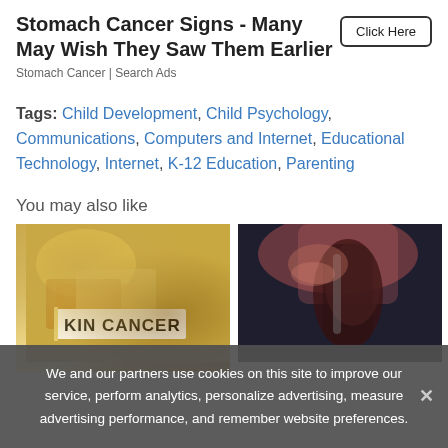Stomach Cancer Signs - Many May Wish They Saw Them Earlier
Stomach Cancer | Search Ads
Click Here
Tags: Child Development, Child Psychology, Communications, Computers and Internet, Educational Technology, Internet, K-12 Education, Parenting
You may also like
[Figure (photo): Photo of skin cancer medication/brochure with yellow pill bottles, text reads 'SKIN CANCER']
[Figure (photo): Photo of a woman with red hair drinking from a wine glass]
We and our partners use cookies on this site to improve our service, perform analytics, personalize advertising, measure advertising performance, and remember website preferences.